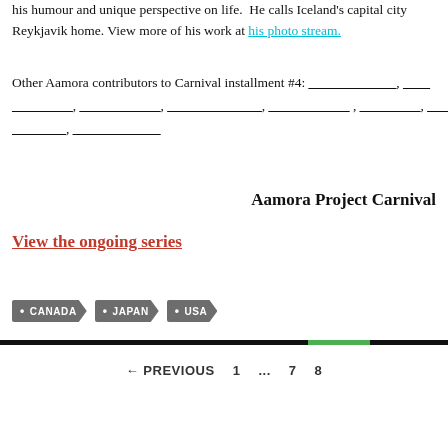his humour and unique perspective on life.  He calls Iceland's capital city Reykjavik home. View more of his work at his photo stream.
Other Aamora contributors to Carnival installment #4: _____________, _________________, _____________, _____________, _____________ , _________, _______________________, _____________.
Aamora Project Carnival
View the ongoing series
CANADA
JAPAN
USA
← PREVIOUS   1   ...   7   8